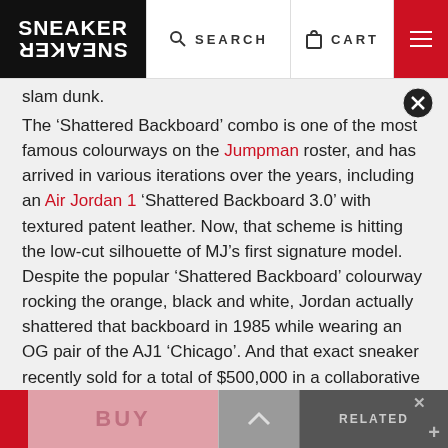SNEAKER FREAKER | SEARCH | CART | MENU
slam dunk.
The ‘Shattered Backboard’ combo is one of the most famous colourways on the Jumpman roster, and has arrived in various iterations over the years, including an Air Jordan 1 ‘Shattered Backboard 3.0’ with textured patent leather. Now, that scheme is hitting the low-cut silhouette of MJ’s first signature model. Despite the popular ‘Shattered Backboard’ colourway rocking the orange, black and white, Jordan actually shattered that backboard in 1985 while wearing an OG pair of the AJ1 ‘Chicago’. And that exact sneaker recently sold for a total of $500,000 in a collaborative auction with Stadium Goods and Christie’s – complete with real glass from the backboard still lodged in its sole. Crazy, ey?!
BUY | ^ | RELATED | x | +